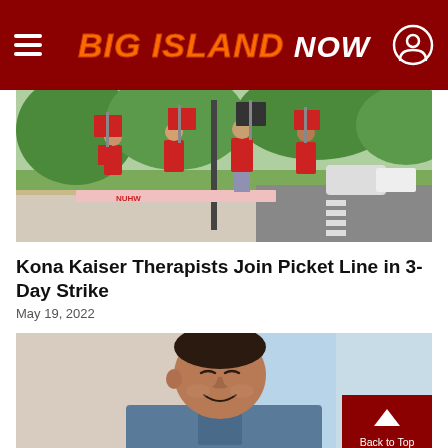BIG ISLAND NOW
[Figure (photo): People on a picket line holding signs, wearing red shirts, outdoors with trees and parked cars in background]
Kona Kaiser Therapists Join Picket Line in 3-Day Strike
May 19, 2022
[Figure (photo): Close-up portrait of a man smiling, wearing a blue denim shirt]